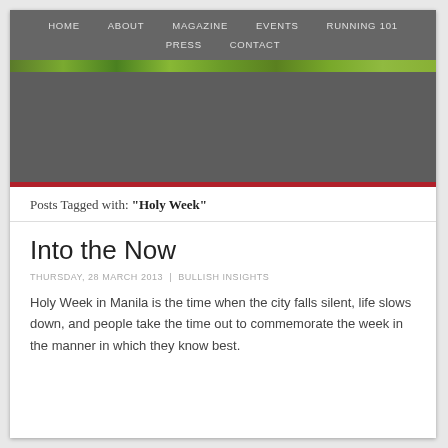HOME   ABOUT   MAGAZINE   EVENTS   RUNNING 101   PRESS   CONTACT
Posts Tagged with: "Holy Week"
Into the Now
THURSDAY, 28 MARCH 2013 | BULLISH INSIGHTS
Holy Week in Manila is the time when the city falls silent, life slows down, and people take the time out to commemorate the week in the manner in which they know best.